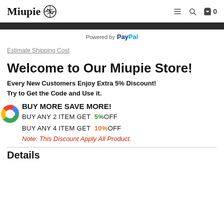Miupie [logo]  ≡ 🔍 🛒 0
[Figure (screenshot): Dark bar at top of content area]
Powered by PayPal
Estimate Shipping Cost
Welcome to Our Miupie Store!
Every New Customers Enjoy Extra 5% Discount! Try to Get the Code and Use it.
BUY MORE SAVE MORE!
BUY ANY 2 ITEM GET 5%OFF
BUY ANY 4 ITEM GET 10%OFF
Note: This Discount Apply All Product.
Details